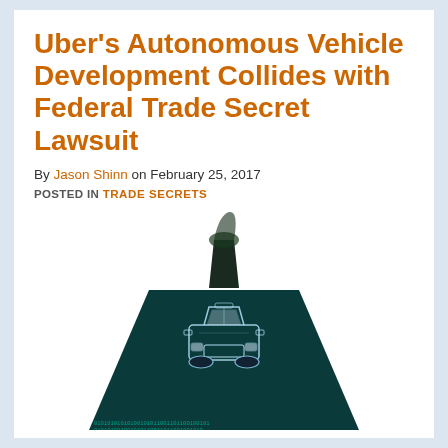Uber’s Autonomous Vehicle Development Collides with Federal Trade Secret Lawsuit
By Jason Shinn on February 25, 2017
POSTED IN TRADE SECRETS
[Figure (illustration): Illustration of a white wireframe car driving on a road made of binary code (0s and 1s), with the road extending into the distance and a dark road/path visible ahead.]